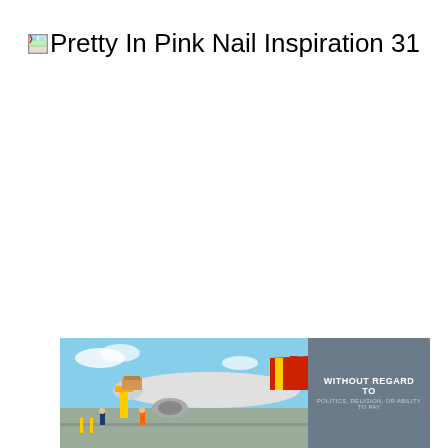[Figure (other): Broken image placeholder with alt text 'Pretty In Pink Nail Inspiration 31']
[Figure (photo): Advertisement banner showing an airplane being loaded with cargo on a tarmac. Right side has dark gray background with text 'WITHOUT REGARD TO POLITICS, RELIGION, OR ABILITY TO PAY']